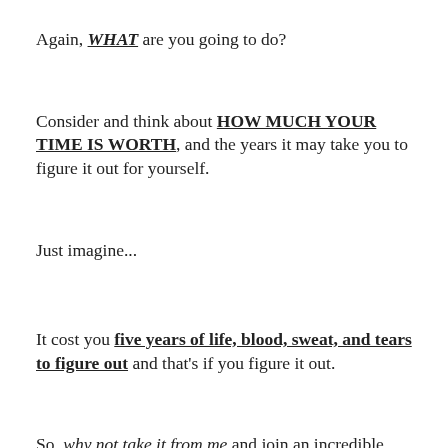Again, WHAT are you going to do?
Consider and think about HOW MUCH YOUR TIME IS WORTH, and the years it may take you to figure it out for yourself.
Just imagine...
It cost you five years of life, blood, sweat, and tears to figure out and that's if you figure it out.
So, why not take it from me and join an incredible community of ambitious IT Engineers that want to see you succeed? I'm giving it all to you for $2,000.